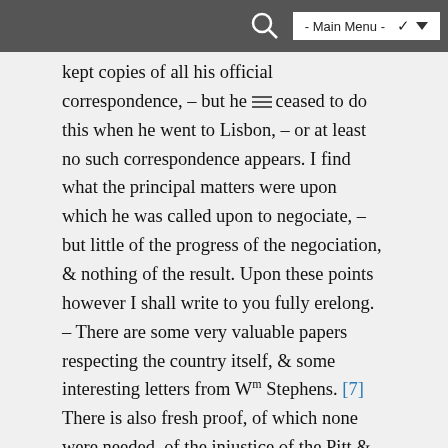- Main Menu -
kept copies of all his official correspondence, – but he ceased to do this when he went to Lisbon, – or at least no such correspondence appears. I find what the principal matters were upon which he was called upon to negociate, – but little of the progress of the negociation, & nothing of the result. Upon these points however I shall write to you fully erelong. – There are some very valuable papers respecting the country itself, & some interesting letters from Wm Stephens. [7]  There is also fresh proof, of which none were needed, of the injustice of the Pitt & Grenville [8] administration, when Mr Walpole applied with such ~~px~~ reason for an increase of salary.
The term which I allowed Coleridge for an answer to my letter has elapsed. I wait however yet a little longer, in case Mrs C should chuse to make a trial, as she seems inclined to do.